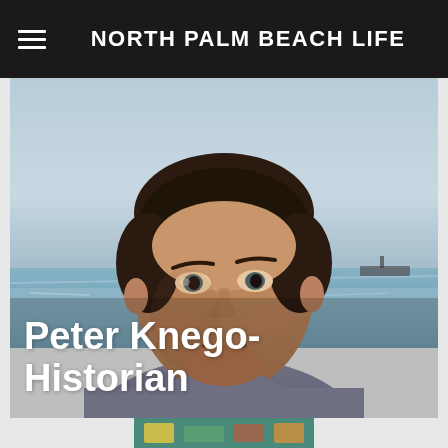NORTH PALM BEACH LIFE
[Figure (photo): Portrait photo of Peter Knego, a middle-aged man with dark hair, photographed outdoors near water/ocean background. He is wearing a light-colored shirt and looking slightly off-camera with a subtle smile.]
Peter Knego- Historian
[Figure (photo): Partial thumbnail image at bottom of page, partially cut off]